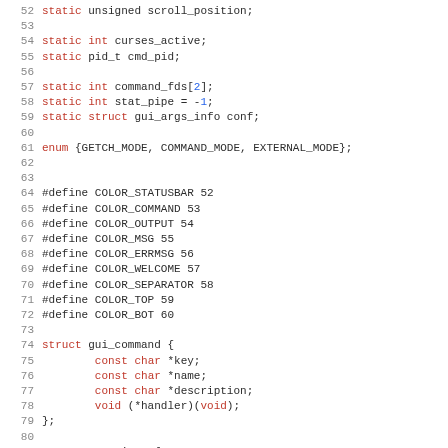Code listing lines 52–83: C source file with static variable declarations, enum, #define macros, and struct definitions for gui_command and stat_item.